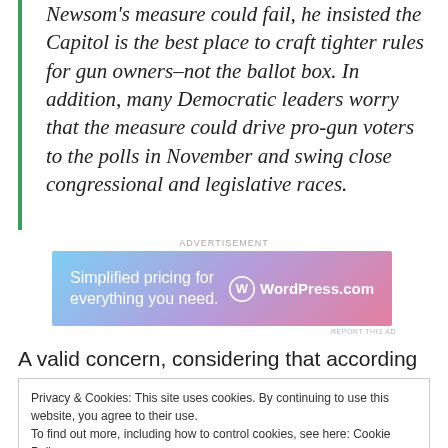Newsom's measure could fail, he insisted the Capitol is the best place to craft tighter rules for gun owners–not the ballot box.  In addition, many Democratic leaders worry that the measure could drive pro-gun voters to the polls in November and swing close congressional and legislative races.
[Figure (other): WordPress.com advertisement banner with gradient background reading 'Simplified pricing for everything you need. WordPress.com']
A valid concern, considering that according to polls
Privacy & Cookies: This site uses cookies. By continuing to use this website, you agree to their use.
To find out more, including how to control cookies, see here: Cookie Policy
Close and accept
Don't let those pesky voters decide for themselves!